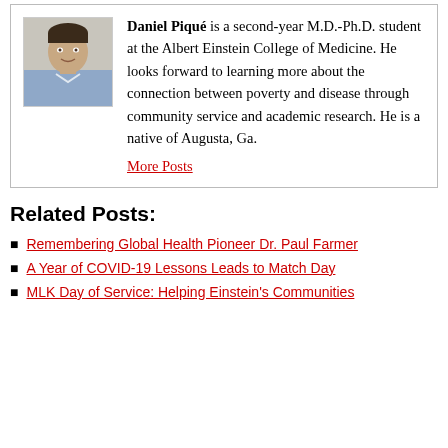[Figure (photo): Headshot photo of Daniel Piqué, a young man smiling, wearing a light blue shirt]
Daniel Piqué is a second-year M.D.-Ph.D. student at the Albert Einstein College of Medicine. He looks forward to learning more about the connection between poverty and disease through community service and academic research. He is a native of Augusta, Ga.
More Posts
Related Posts:
Remembering Global Health Pioneer Dr. Paul Farmer
A Year of COVID-19 Lessons Leads to Match Day
MLK Day of Service: Helping Einstein's Communities